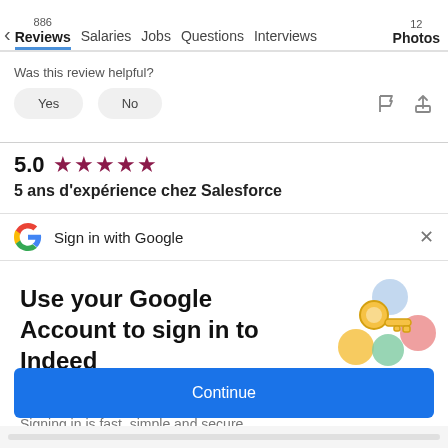886 Reviews  Salaries  Jobs  Questions  Interviews  12 Photos
Was this review helpful?
Yes  No
5.0 ★★★★★
5 ans d'expérience chez Salesforce
Sign in with Google
Use your Google Account to sign in to Indeed
No more passwords to remember.
Signing in is fast, simple and secure.
Continue
[Figure (illustration): Colorful Google account key illustration with circles]